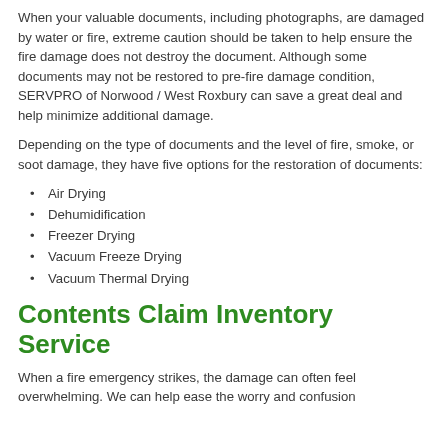When your valuable documents, including photographs, are damaged by water or fire, extreme caution should be taken to help ensure the fire damage does not destroy the document. Although some documents may not be restored to pre-fire damage condition, SERVPRO of Norwood / West Roxbury can save a great deal and help minimize additional damage.
Depending on the type of documents and the level of fire, smoke, or soot damage, they have five options for the restoration of documents:
Air Drying
Dehumidification
Freezer Drying
Vacuum Freeze Drying
Vacuum Thermal Drying
Contents Claim Inventory Service
When a fire emergency strikes, the damage can often feel overwhelming. We can help ease the worry and confusion